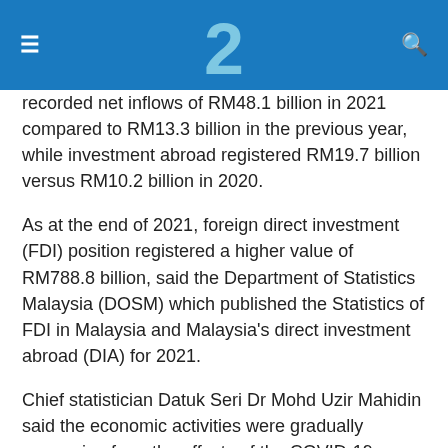2
recorded net inflows of RM48.1 billion in 2021 compared to RM13.3 billion in the previous year, while investment abroad registered RM19.7 billion versus RM10.2 billion in 2020.
As at the end of 2021, foreign direct investment (FDI) position registered a higher value of RM788.8 billion, said the Department of Statistics Malaysia (DOSM) which published the Statistics of FDI in Malaysia and Malaysia's direct investment abroad (DIA) for 2021.
Chief statistician Datuk Seri Dr Mohd Uzir Mahidin said the economic activities were gradually recovering from the effects of the COVID-19 pandemic.
Based on the World Investment Report by the UN Conference on Trade and Development, FDI flows to